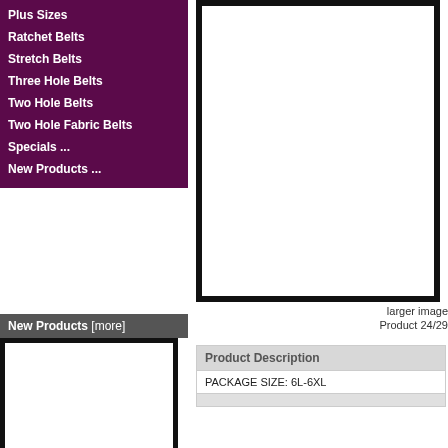Plus Sizes
Ratchet Belts
Stretch Belts
Three Hole Belts
Two Hole Belts
Two Hole Fabric Belts
Specials ...
New Products ...
[Figure (photo): Product image area (large white box with black border)]
larger image
Product 24/29
New Products  [more]
[Figure (photo): New products thumbnail image area (white box with black border)]
| Product Description |
| --- |
| PACKAGE SIZE: 6L-6XL |